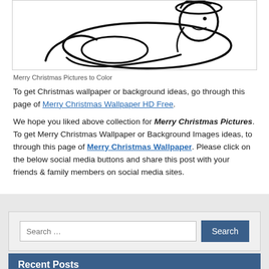[Figure (illustration): Hand-drawn line art illustration of a figure lying down, possibly a Santa Claus or similar Christmas character, done in black ink on white background]
Merry Christmas Pictures to Color
To get Christmas wallpaper or background ideas, go through this page of Merry Christmas Wallpaper HD Free.
We hope you liked above collection for Merry Christmas Pictures. To get Merry Christmas Wallpaper or Background Images ideas, to through this page of Merry Christmas Wallpaper. Please click on the below social media buttons and share this post with your friends & family members on social media sites.
Search …
Recent Posts